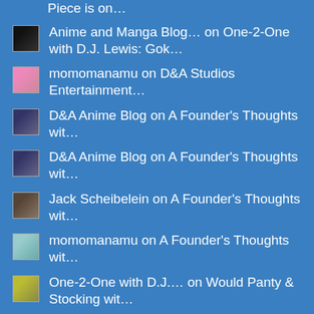Piece is on…
Anime and Manga Blog… on One-2-One with D.J. Lewis: Gok…
momomanamu on D&A Studios Entertainment…
D&A Anime Blog on A Founder's Thoughts wit…
D&A Anime Blog on A Founder's Thoughts wit…
Jack Scheibelein on A Founder's Thoughts wit…
momomanamu on A Founder's Thoughts wit…
One-2-One with D.J.… on Would Panty & Stocking wit…
Alan Joshy on The Big Three: Anime That Defi…
Alan Joshy on The Big Three: Anime That Defi…
Kazuki Takahasi, Cre… on Kazuki Takahasi, Creator of Yu…